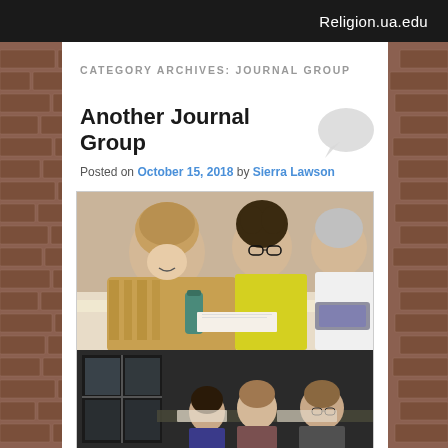Religion.ua.edu
CATEGORY ARCHIVES: JOURNAL GROUP
Another Journal Group
Posted on October 15, 2018 by Sierra Lawson
[Figure (photo): Top: Three students sitting at a table writing/working; a woman in plaid shirt smiling down, a person in yellow shirt with glasses behind her, and an older woman on the right. Bottom: A group of students seated in a classroom or meeting room, viewed from the front.]